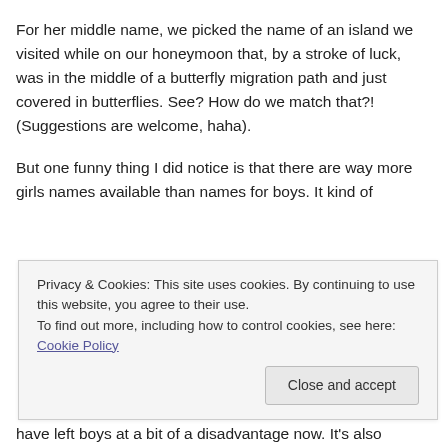For her middle name, we picked the name of an island we visited while on our honeymoon that, by a stroke of luck, was in the middle of a butterfly migration path and just covered in butterflies. See? How do we match that?! (Suggestions are welcome, haha).
But one funny thing I did notice is that there are way more girls names available than names for boys. It kind of
Privacy & Cookies: This site uses cookies. By continuing to use this website, you agree to their use.
To find out more, including how to control cookies, see here: Cookie Policy
have left boys at a bit of a disadvantage now. It's also